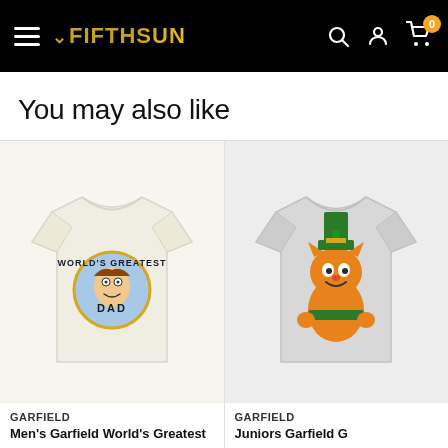Fifth Sun — Navigation bar with hamburger menu, logo, search, account, cart (0)
You may also like
[Figure (photo): Product photo of a cream/natural colored t-shirt with 'World's Greatest Dad' Garfield graphic print]
GARFIELD
Men's Garfield World's Greatest
[Figure (photo): Product photo of a light gray t-shirt with Garfield dressed as a leprechaun graphic print]
GARFIELD
Juniors Garfield G